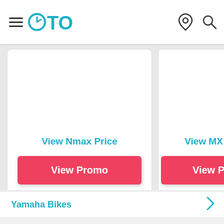OTO — navigation header with hamburger menu, OTO logo, location pin icon, and search icon
View Nmax Price
View Promo
View MX K
View P
Yamaha Bikes